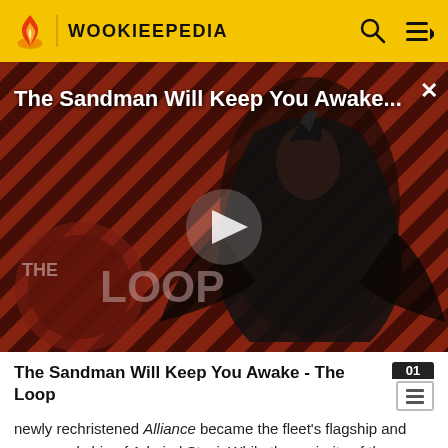WOOKIEEPEDIA
[Figure (screenshot): Video thumbnail for 'The Sandman Will Keep You Awake...' showing a dark-cloaked figure with a raven, The Loop branding, with a play button overlay. Red/dark diagonal striped background.]
The Sandman Will Keep You Awake - The Loop
newly rechristened Alliance became the fleet's flagship and command ship of Admiral Stazi. While the majority of the Galactic Alliance Army was absorbed in the Imperial